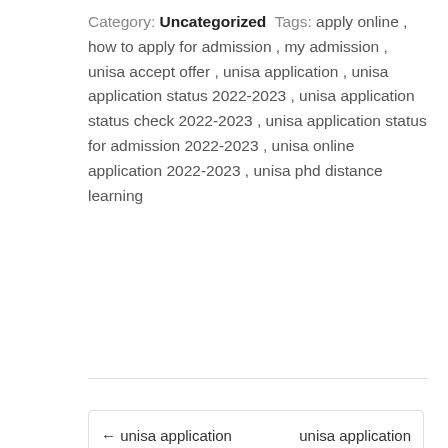Category: Uncategorized Tags: apply online , how to apply for admission , my admission , unisa accept offer , unisa application , unisa application status 2022-2023 , unisa application status check 2022-2023 , unisa application status for admission 2022-2023 , unisa online application 2022-2023 , unisa phd distance learning
← unisa application period 2021-2022   unisa application payment 2022-2023 →
Leave a Reply
Your email address will not be published. Required fields are marked *
Comment *